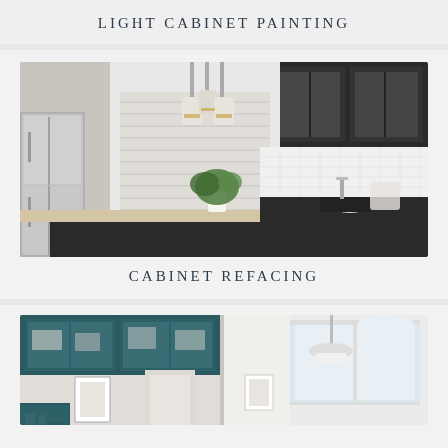LIGHT CABINET PAINTING
[Figure (photo): Modern kitchen with dark grey cabinets, light wood countertops, white subway tile backsplash, pendant lights, stainless steel refrigerator, and green plant centerpiece on island.]
CABINET REFACING
[Figure (photo): Split view of two kitchen styles: left shows teal/dark green glass-front upper cabinets, right shows a bright white kitchen with large windows and pendant light.]